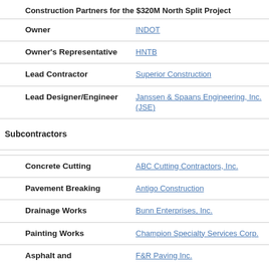Construction Partners for the $320M North Split Project
| Role | Partner |
| --- | --- |
| Owner | INDOT |
| Owner's Representative | HNTB |
| Lead Contractor | Superior Construction |
| Lead Designer/Engineer | Janssen & Spaans Engineering, Inc. (JSE) |
| Subcontractors |  |
| Concrete Cutting | ABC Cutting Contractors, Inc. |
| Pavement Breaking | Antigo Construction |
| Drainage Works | Bunn Enterprises, Inc. |
| Painting Works | Champion Specialty Services Corp. |
| Asphalt and | F&R Paving Inc. |